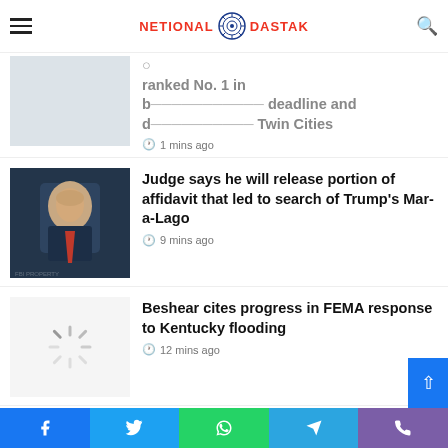NETIONAL DASTAK
ranked No. 1 in deadline and Twin Cities — 1 mins ago (partial article, cut off)
Judge says he will release portion of affidavit that led to search of Trump's Mar-a-Lago
9 mins ago
Beshear cites progress in FEMA response to Kentucky flooding
12 mins ago
Inside the Beltway: Mike Pence watch now underway
14 mins ago